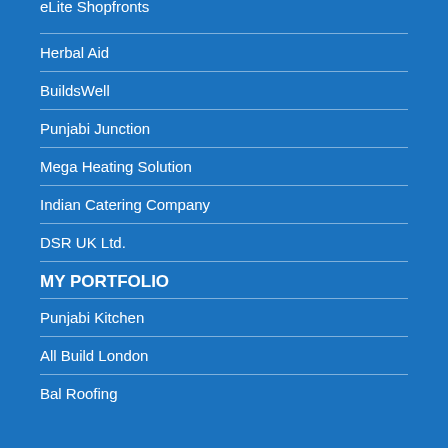eLite Shopfronts
Herbal Aid
BuildsWell
Punjabi Junction
Mega Heating Solution
Indian Catering Company
DSR UK Ltd.
MY PORTFOLIO
Punjabi Kitchen
All Build London
Bal Roofing